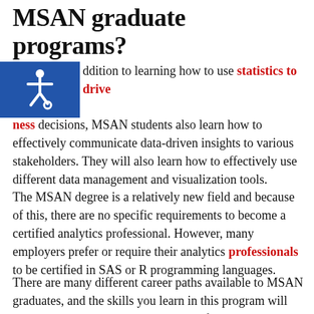MSAN graduate programs?
In addition to learning how to use statistics to drive business decisions, MSAN students also learn how to effectively communicate data-driven insights to various stakeholders. They will also learn how to effectively use different data management and visualization tools.
The MSAN degree is a relatively new field and because of this, there are no specific requirements to become a certified analytics professional. However, many employers prefer or require their analytics professionals to be certified in SAS or R programming languages.
There are many different career paths available to MSAN graduates, and the skills you learn in this program will vary depending on your chosen area of